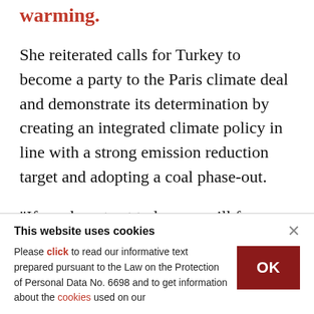the climate crisis, especially through and global warming.
She reiterated calls for Turkey to become a party to the Paris climate deal and demonstrate its determination by creating an integrated climate policy in line with a strong emission reduction target and adopting a coal phase-out.
“If we do not act today, we will face even more severe effects of the climate crisis in the not so
This website uses cookies
Please click to read our informative text prepared pursuant to the Law on the Protection of Personal Data No. 6698 and to get information about the cookies used on our